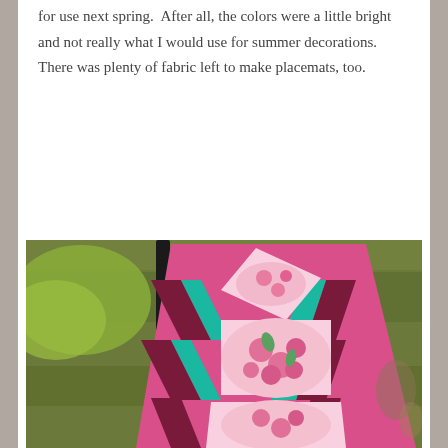for use next spring.  After all, the colors were a little bright and not really what I would use for summer decorations.  There was plenty of fabric left to make placemats, too.
[Figure (photo): A colorful quilted table runner with pink, teal, and dark maroon chevron/diamond patterns featuring floral rose fabric panels, laid on a wooden surface outdoors.]